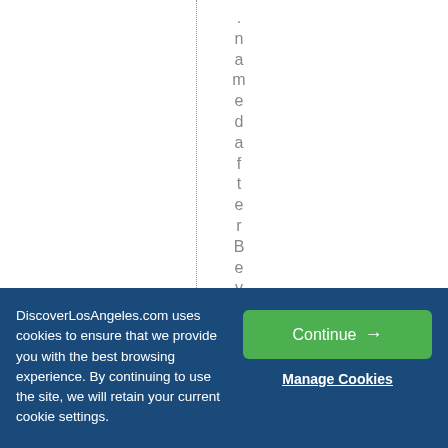[Figure (screenshot): Website page fragment showing a vertical dotted line and rotated text reading '.namedafterBever[ly]' displayed character by character vertically, on a white background.]
DiscoverLosAngeles.com uses cookies to ensure that we provide you with the best browsing experience. By continuing to use the site, we will retain your current cookie settings.
Continue →
Manage Cookies